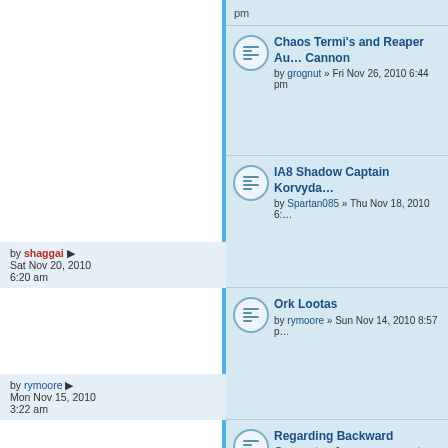pm
Chaos Termi's and Reaper Autocannon | by grognut » Fri Nov 26, 2010 6:44 pm
IA8 Shadow Captain Korvydae | by Spartan085 » Thu Nov 18, 2010 6:... | by shaggai Sat Nov 20, 2010 6:20 am
Ork Lootas | by rymoore » Sun Nov 14, 2010 8:57 p... | by rymoore Mon Nov 15, 2010 3:22 am
Regarding Backward Compat... Announcement | by shaggai » Wed Nov 10, 2010 2:49...
Adding new vehicle? - Caestu... Assault Ram | by KJQ » Tue Nov 02, 2010 11:42 am